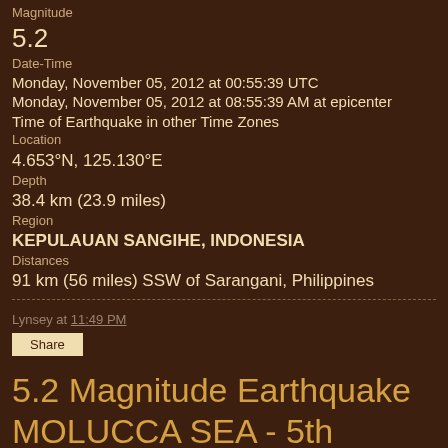Magnitude
5.2
Date-Time
Monday, November 05, 2012 at 00:55:39 UTC
Monday, November 05, 2012 at 08:55:39 AM at epicenter
Time of Earthquake in other Time Zones
Location
4.653°N, 125.130°E
Depth
38.4 km (23.9 miles)
Region
KEPULAUAN SANGIHE, INDONESIA
Distances
91 km (56 miles) SSW of Sarangani, Philippines
Lynsey at 11:49 PM
Share
5.2 Magnitude Earthquake MOLUCCA SEA - 5th November 2012